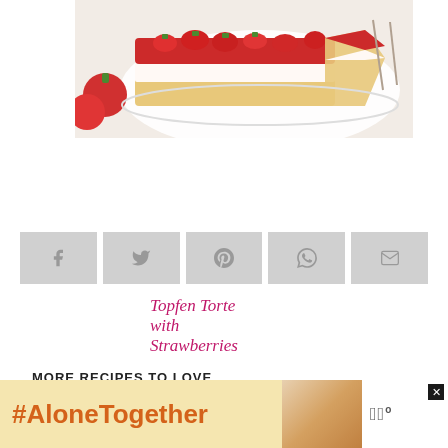[Figure (photo): Photo of a strawberry Topfen Torte (cheesecake) with red strawberry glaze on top, cream filling, and sponge base, sliced on a white plate with whole strawberries alongside]
Topfen Torte with Strawberries
[Figure (infographic): Social share buttons row: Facebook, Twitter, Pinterest, WhatsApp, Email — all in light grey]
MORE RECIPES TO LOVE
[Figure (screenshot): Advertisement banner: black background on left, yellow/cream section with '#AloneTogether' text in orange, right side shows a woman at a desk with a sewing machine, close button X, and Whisk logo]